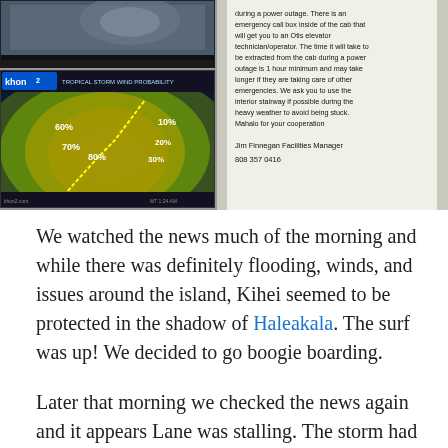[Figure (photo): Top-left: TV screen showing news broadcast of tropical storm. Bottom-left: TV screen showing tropical storm wind probability map with color-coded percentage bands (60%, 70%, 80%, 90%, 20%, 30%). Right: White sign/notice on elevator cab about power outage procedures, signed by Jim Finnegan, Facilities Manager, 808 357 0416.]
We watched the news much of the morning and while there was definitely flooding, winds, and issues around the island, Kihei seemed to be protected in the shadow of Haleakala. The surf was up! We decided to go boogie boarding.
Later that morning we checked the news again and it appears Lane was stalling. The storm had slowed its